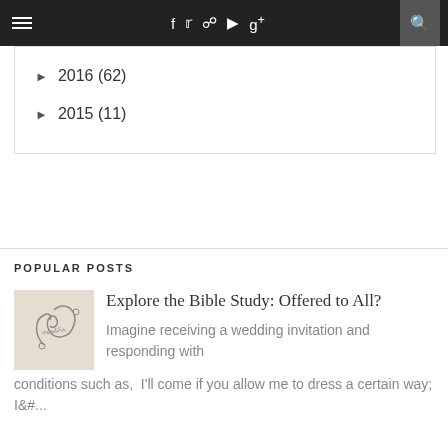≡  f  t  Instagram  YouTube  g+  🔍
► 2016 (62)
► 2015 (11)
POPULAR POSTS
[Figure (illustration): Decorative swirl/flourish illustration on a beige background with cursive text]
Explore the Bible Study: Offered to All?
Imagine receiving a wedding invitation and responding with conditions such as,  I'll come if you allow me to dress a certain way; I&#...